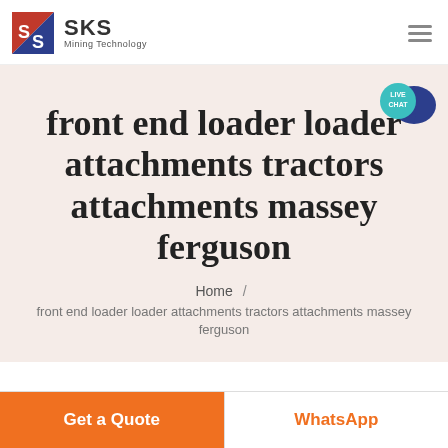SKS Mining Technology
front end loader loader attachments tractors attachments massey ferguson
Home / front end loader loader attachments tractors attachments massey ferguson
[Figure (other): Live Chat bubble icon in teal/dark blue]
Get a Quote
WhatsApp